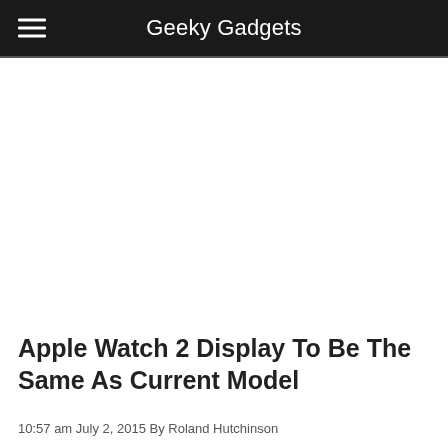Geeky Gadgets
Apple Watch 2 Display To Be The Same As Current Model
10:57 am July 2, 2015 By Roland Hutchinson